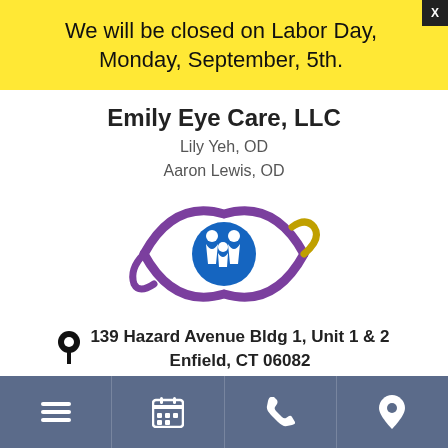We will be closed on Labor Day, Monday, September, 5th.
Emily Eye Care, LLC
Lily Yeh, OD
Aaron Lewis, OD
[Figure (logo): Emily Eye Care logo: purple eye shape with a blue circle in the center showing a family silhouette icon]
139 Hazard Avenue Bldg 1, Unit 1 & 2
Enfield, CT 06082
[Figure (infographic): Footer navigation bar with four icons: hamburger menu, calendar, phone, and map pin on a steel blue background]